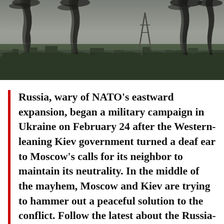[Figure (photo): Aerial/distant photo of a city skyline with large plumes of black and dark smoke rising from multiple points across the cityscape, against an overcast grey sky. Trees and buildings visible in the foreground.]
Russia, wary of NATO's eastward expansion, began a military campaign in Ukraine on February 24 after the Western-leaning Kiev government turned a deaf ear to Moscow's calls for its neighbor to maintain its neutrality. In the middle of the mayhem, Moscow and Kiev are trying to hammer out a peaceful solution to the conflict. Follow the latest about the Russia-Ukraine conflict.